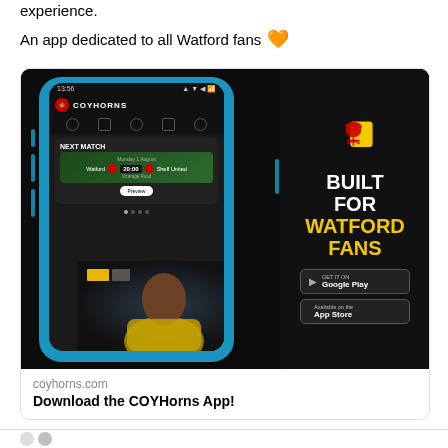experience.
An app dedicated to all Watford fans 🧡
[Figure (screenshot): Screenshot of COYHorns mobile app showing a phone mockup with the app interface displaying 'NEXT MATCH' - Watford vs Sheff United on Monday 1 August 20:00 at Vicarage Road, a player photo, and promotional text 'BUILT FOR WATFORD FANS' with Google Play and App Store download buttons. The Watford hornet logo appears in the top right.]
coyhorns.com
Download the COYHorns App!